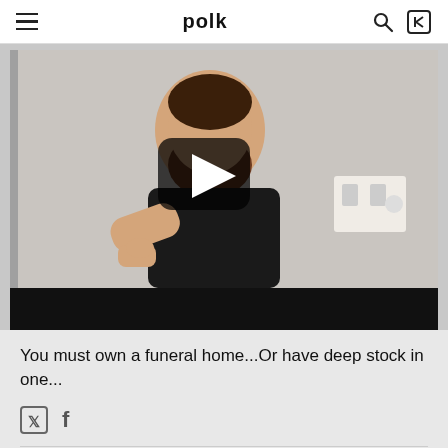polk
[Figure (screenshot): Video thumbnail showing a man with a beard wearing a black shirt giving a thumbs up, with a play button overlay. Bottom portion of video player is a black bar.]
You must own a funeral home...Or have deep stock in one...
Twitter and Facebook share icons
mrbigbluelight Posts: 8,822